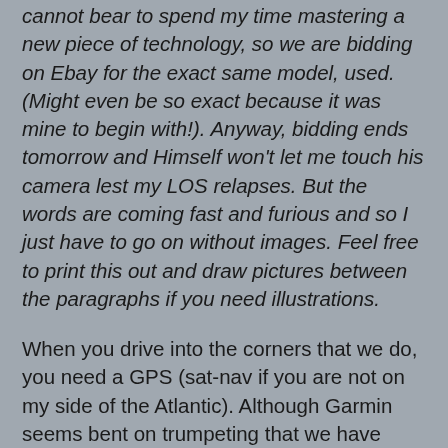cannot bear to spend my time mastering a new piece of technology, so we are bidding on Ebay for the exact same model, used. (Might even be so exact because it was mine to begin with!). Anyway, bidding ends tomorrow and Himself won't let me touch his camera lest my LOS relapses. But the words are coming fast and furious and so I just have to go on without images. Feel free to print this out and draw pictures between the paragraphs if you need illustrations.
When you drive into the corners that we do, you need a GPS (sat-nav if you are not on my side of the Atlantic). Although Garmin seems bent on trumpeting that we have arrived at our destination "on left" when it is clearly on the right, it does keep us off roads that end in waterfalls and it breaks up our squabbles about who missed what turn.
Garmin does not get thrown by missed turns or closed roads. It does not curl itself up into a ball and whimper, "what now?" or turn its screen off and crawl back into the box. Nope. Garmin just utters the magic word: "Recalculating."
It occurred to me a while back that Garmin has been trying to tell me something. Not about missing right turns, but about